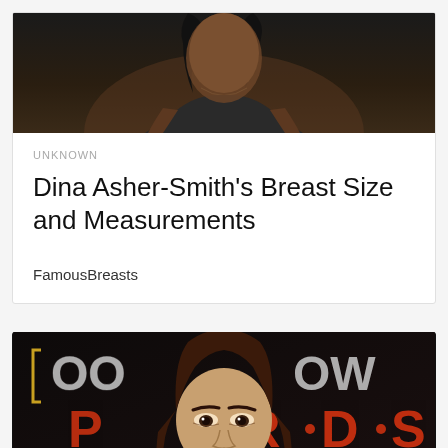[Figure (photo): Cropped photo of a dark-skinned woman in a dark athletic tank top with a necklace, upper body visible against dark background]
UNKNOWN
Dina Asher-Smith's Breast Size and Measurements
FamousBreasts
[Figure (photo): Photo of a brunette woman smiling at camera, in front of a neon sign backdrop reading partial text including 'ARDS']